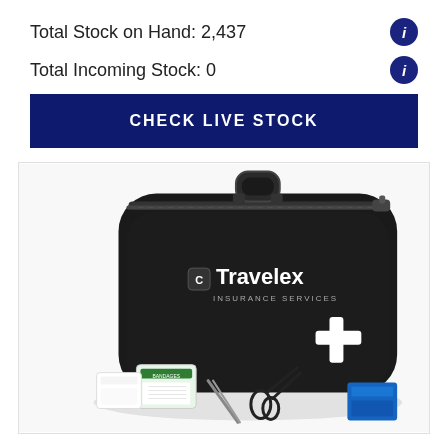Total Stock on Hand: 2,437
Total Incoming Stock: 0
CHECK LIVE STOCK
[Figure (photo): Black Travelex Insurance Services branded first aid kit case with white cross logo, shown with some medical supplies in front including bandages, tweezers, and scissors.]